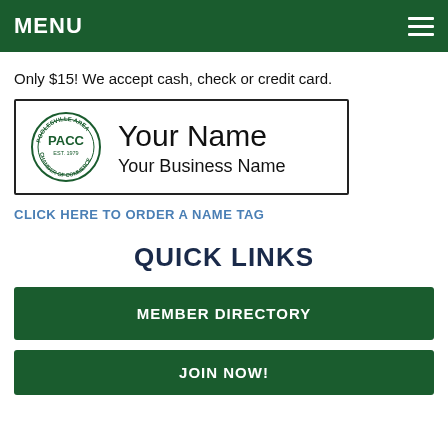MENU
Only $15! We accept cash, check or credit card.
[Figure (logo): PACC Poolesville Area Chamber of Commerce logo with name tag showing 'Your Name' and 'Your Business Name']
CLICK HERE TO ORDER A NAME TAG
QUICK LINKS
MEMBER DIRECTORY
JOIN NOW!